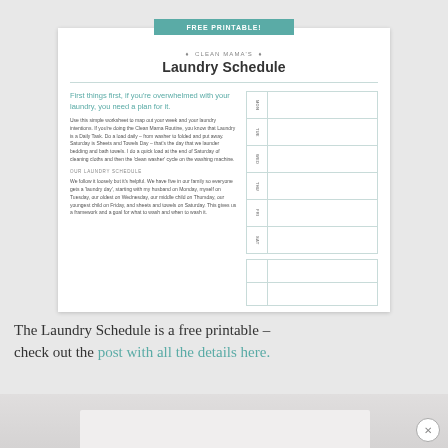FREE PRINTABLE!
♦ CLEAN MAMA'S ♦
Laundry Schedule
First things first, if you're overwhelmed with your laundry, you need a plan for it.
Use this simple worksheet to map out your week and your laundry intentions. If you're doing the Clean Mama Routine, you know that Laundry is a Daily Task. Do a load daily – from washer to folded and put away. Saturday is Sheets and Towels Day – that's the day that we launder bedding and bath towels. I do a quick load at the end of Saturday of cleaning cloths and then the 'clean washer' cycle on the washing machine.
OUR LAUNDRY SCHEDULE
We follow it loosely but it's helpful. We have five in our family so everyone gets a 'laundry day', starting with my husband on Monday, myself on Tuesday, our oldest on Wednesday, our middle child on Thursday, our youngest child on Friday, and sheets and towels on Saturday. This gives us a framework and a goal for what to wash and when to wash it.
[Figure (other): Laundry schedule grid with day labels (MON, TUE, WED, THU, FRI, SAT) and blank content cells, plus two extra rows at bottom]
The Laundry Schedule is a free printable – check out the post with all the details here.